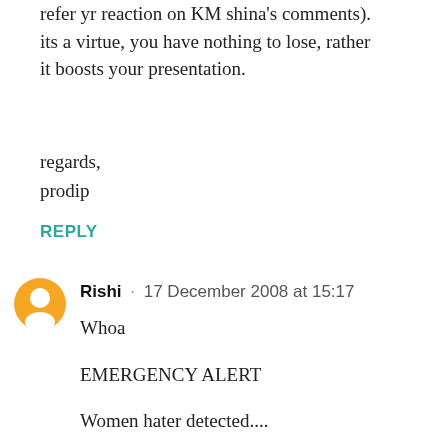refer yr reaction on KM shina's comments). its a virtue, you have nothing to lose, rather it boosts your presentation.
regards,
prodip
REPLY
Rishi · 17 December 2008 at 15:17
Whoa

EMERGENCY ALERT

Women hater detected....

Women hater detected....

Women hater detected....

Women hater detected....